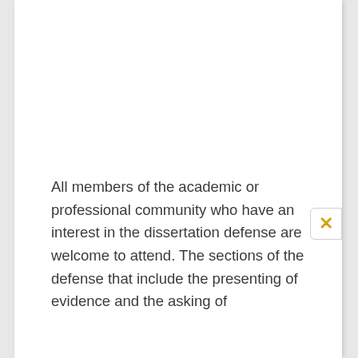All members of the academic or professional community who have an interest in the dissertation defense are welcome to attend. The sections of the defense that include the presenting of evidence and the asking of